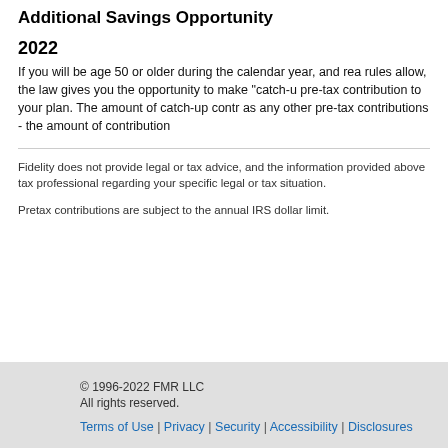Additional Savings Opportunity
2022
If you will be age 50 or older during the calendar year, and rea rules allow, the law gives you the opportunity to make "catch-u pre-tax contribution to your plan. The amount of catch-up contr as any other pre-tax contributions - the amount of contribution
Fidelity does not provide legal or tax advice, and the information provided above tax professional regarding your specific legal or tax situation.
Pretax contributions are subject to the annual IRS dollar limit.
© 1996-2022 FMR LLC
All rights reserved.
Terms of Use | Privacy | Security | Accessibility | Disclosures